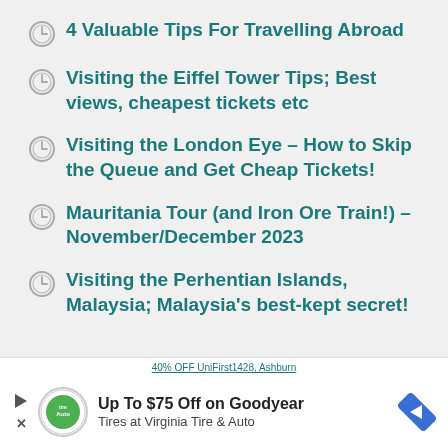4 Valuable Tips For Travelling Abroad
Visiting the Eiffel Tower Tips; Best views, cheapest tickets etc
Visiting the London Eye – How to Skip the Queue and Get Cheap Tickets!
Mauritania Tour (and Iron Ore Train!) – November/December 2023
Visiting the Perhentian Islands, Malaysia; Malaysia's best-kept secret!
[Figure (infographic): Advertisement banner: 'Up To $75 Off on Goodyear Tires at Virginia Tire & Auto' with Tire Auto logo and navigation arrow icon]